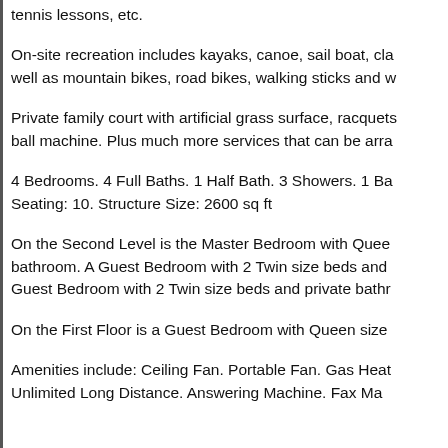tennis lessons, etc.
On-site recreation includes kayaks, canoe, sail boat, cla well as mountain bikes, road bikes, walking sticks and w
Private family court with artificial grass surface, racquets ball machine. Plus much more services that can be arra
4 Bedrooms. 4 Full Baths. 1 Half Bath. 3 Showers. 1 Ba Seating: 10. Structure Size: 2600 sq ft
On the Second Level is the Master Bedroom with Quee bathroom. A Guest Bedroom with 2 Twin size beds and Guest Bedroom with 2 Twin size beds and private bathr
On the First Floor is a Guest Bedroom with Queen size
Amenities include: Ceiling Fan. Portable Fan. Gas Heat Unlimited Long Distance. Answering Machine. Fax Ma